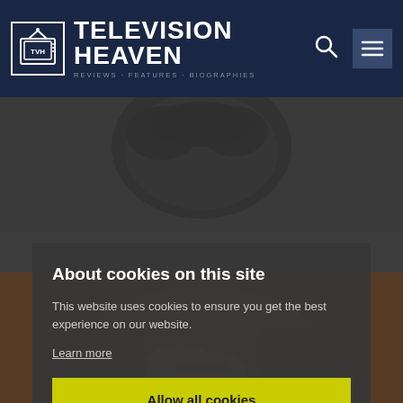TELEVISION HEAVEN
[Figure (screenshot): Background photo of a person with dark curly hair (top) and a person in a tan leather jacket holding something (bottom), partially obscured by cookie consent modal]
About cookies on this site
This website uses cookies to ensure you get the best experience on our website.
Learn more
Allow all cookies
Cookie settings